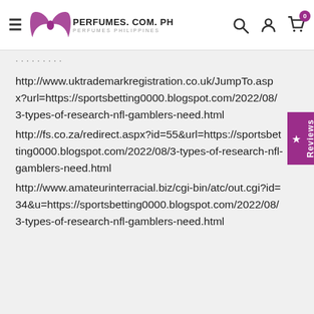PERFUMES.COM.PH — Perfumes Philippines
http://www.uktrademarkregistration.co.uk/JumpTo.aspx?url=https://sportsbetting0000.blogspot.com/2022/08/3-types-of-research-nfl-gamblers-need.html http://fs.co.za/redirect.aspx?id=55&url=https://sportsbetting0000.blogspot.com/2022/08/3-types-of-research-nfl-gamblers-need.html http://www.amateurinterracial.biz/cgi-bin/atc/out.cgi?id=34&u=https://sportsbetting0000.blogspot.com/2022/08/3-types-of-research-nfl-gamblers-need.html